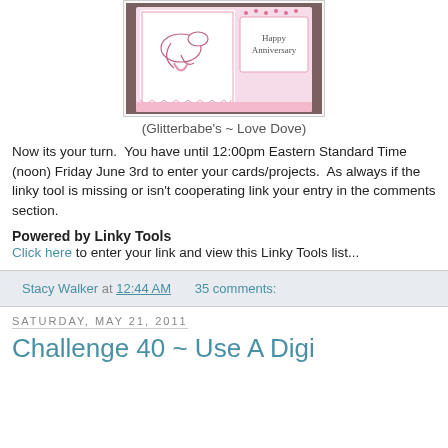[Figure (photo): Photo of a handmade greeting card with pink and white design, dove image, and 'Happy Anniversary' text. Caption reads 'Created By Stacy Walker'.]
(Glitterbabe's ~ Love Dove)
Now its your turn.  You have until 12:00pm Eastern Standard Time (noon) Friday June 3rd to enter your cards/projects.  As always if the linky tool is missing or isn't cooperating link your entry in the comments section.
Powered by Linky Tools
Click here to enter your link and view this Linky Tools list...
Stacy Walker at 12:44 AM   35 comments:
Saturday, May 21, 2011
Challenge 40 ~ Use A Digi